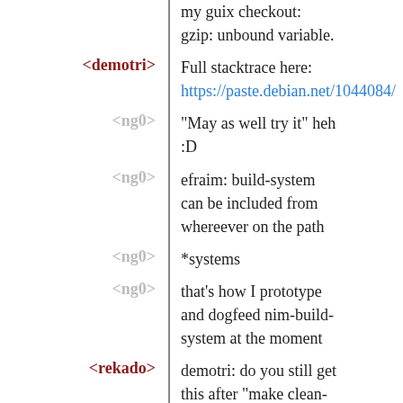my guix checkout:
gzip: unbound variable.
<demotri> Full stacktrace here:
https://paste.debian.net/1044084/
<ng0> "May as well try it" heh :D
<ng0> efraim: build-system can be included from whereever on the path
<ng0> *systems
<ng0> that's how I prototype and dogfeed nim-build-system at the moment
<rekado> demotri: do you still get this after "make clean-..."